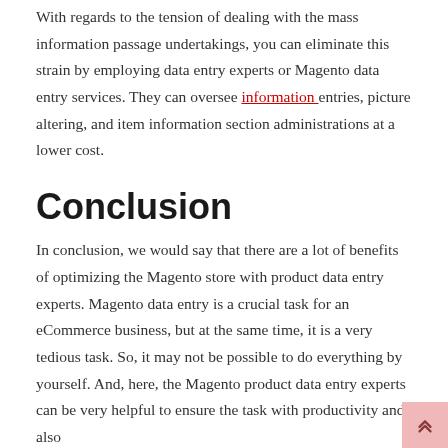With regards to the tension of dealing with the mass information passage undertakings, you can eliminate this strain by employing data entry experts or Magento data entry services. They can oversee information entries, picture altering, and item information section administrations at a lower cost.
Conclusion
In conclusion, we would say that there are a lot of benefits of optimizing the Magento store with product data entry experts. Magento data entry is a crucial task for an eCommerce business, but at the same time, it is a very tedious task. So, it may not be possible to do everything by yourself. And, here, the Magento product data entry experts can be very helpful to ensure the task with productivity and also